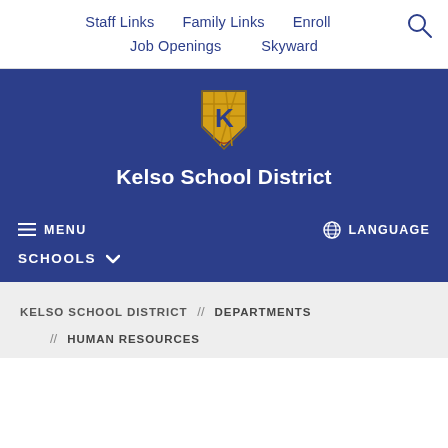Staff Links   Family Links   Enroll   Job Openings   Skyward
[Figure (logo): Kelso School District shield logo with yellow K on blue/plaid background]
Kelso School District
≡ MENU
🌐 LANGUAGE
SCHOOLS ∨
KELSO SCHOOL DISTRICT // DEPARTMENTS
// HUMAN RESOURCES